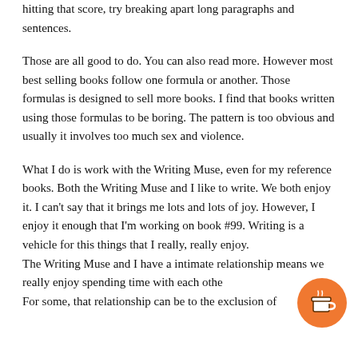hitting that score, try breaking apart long paragraphs and sentences.
Those are all good to do. You can also read more. However most best selling books follow one formula or another. Those formulas is designed to sell more books. I find that books written using those formulas to be boring. The pattern is too obvious and usually it involves too much sex and violence.
What I do is work with the Writing Muse, even for my reference books. Both the Writing Muse and I like to write. We both enjoy it. I can't say that it brings me lots and lots of joy. However, I enjoy it enough that I'm working on book #99. Writing is a vehicle for this things that I really, really enjoy. The Writing Muse and I have a intimate relationship means we really enjoy spending time with each other. For some, that relationship can be to the exclusion of
[Figure (illustration): Orange circular coffee cup / 'Buy me a coffee' button icon in bottom right corner]